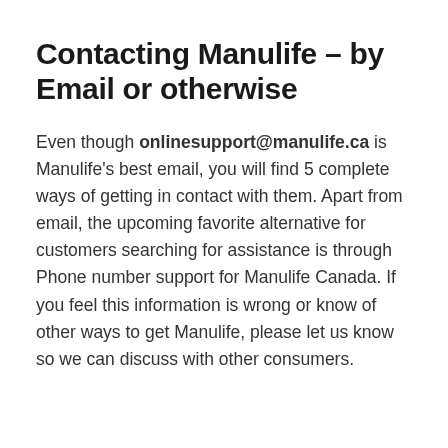Contacting Manulife – by Email or otherwise
Even though onlinesupport@manulife.ca is Manulife's best email, you will find 5 complete ways of getting in contact with them. Apart from email, the upcoming favorite alternative for customers searching for assistance is through Phone number support for Manulife Canada. If you feel this information is wrong or know of other ways to get Manulife, please let us know so we can discuss with other consumers.